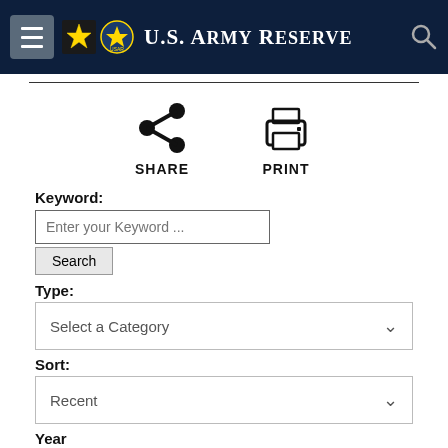U.S. Army Reserve
[Figure (screenshot): Share and Print icons with labels]
Keyword:
Enter your Keyword ...
Search
Type:
Select a Category
Sort:
Recent
Year
Select a Year